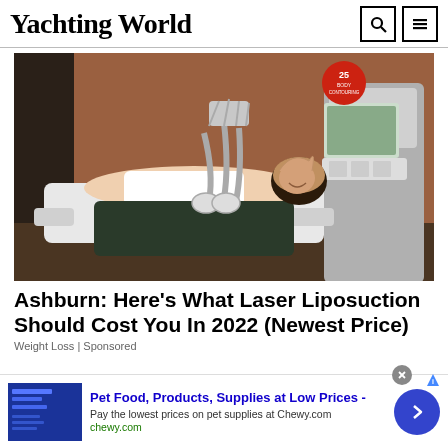Yachting World
[Figure (photo): Woman lying on a medical/aesthetic treatment chair with body contouring equipment attached to her midsection, in a clinical treatment room with a monitor and equipment visible.]
Ashburn: Here's What Laser Liposuction Should Cost You In 2022 (Newest Price)
Weight Loss | Sponsored
Pet Food, Products, Supplies at Low Prices - Pay the lowest prices on pet supplies at Chewy.com chewy.com